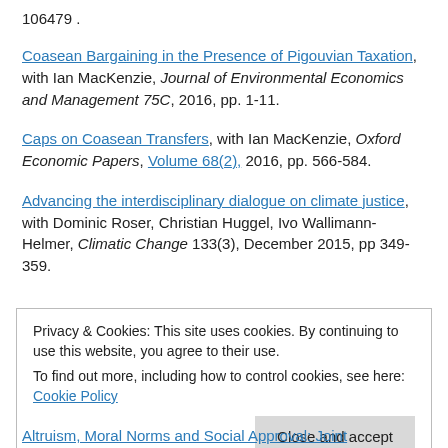106479 .
Coasean Bargaining in the Presence of Pigouvian Taxation, with Ian MacKenzie, Journal of Environmental Economics and Management 75C, 2016, pp. 1-11.
Caps on Coasean Transfers, with Ian MacKenzie, Oxford Economic Papers, Volume 68(2), 2016, pp. 566-584.
Advancing the interdisciplinary dialogue on climate justice, with Dominic Roser, Christian Huggel, Ivo Wallimann-Helmer, Climatic Change 133(3), December 2015, pp 349-359.
Privacy & Cookies: This site uses cookies. By continuing to use this website, you agree to their use. To find out more, including how to control cookies, see here: Cookie Policy
Close and accept
Altruism, Moral Norms and Social Approval: Joint